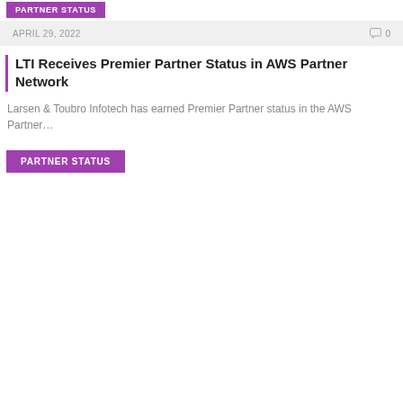PARTNER STATUS
APRIL 29, 2022   0
LTI Receives Premier Partner Status in AWS Partner Network
Larsen & Toubro Infotech has earned Premier Partner status in the AWS Partner…
PARTNER STATUS